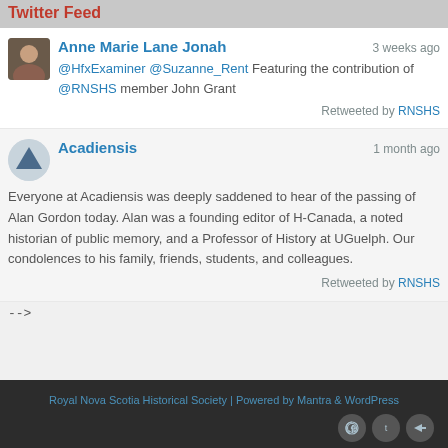Twitter Feed
Anne Marie Lane Jonah  3 weeks ago
@HfxExaminer @Suzanne_Rent Featuring the contribution of @RNSHS member John Grant
Retweeted by RNSHS
Acadiensis  1 month ago
Everyone at Acadiensis was deeply saddened to hear of the passing of Alan Gordon today. Alan was a founding editor of H-Canada, a noted historian of public memory, and a Professor of History at UGuelph. Our condolences to his family, friends, students, and colleagues.
Retweeted by RNSHS
-->
Royal Nova Scotia Historical Society | Powered by Mantra & WordPress